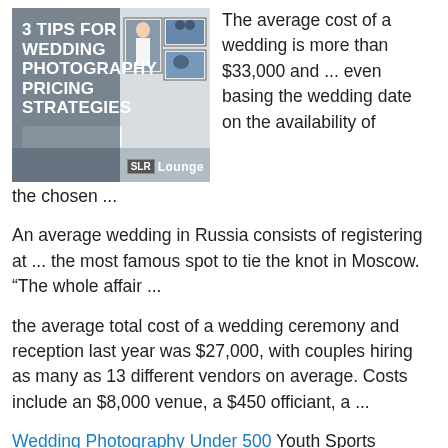[Figure (photo): Blog post thumbnail image titled '3 TIPS FOR WEDDING PHOTOGRAPHY PRICING STRATEGIES' with SLR Lounge branding, showing a room with framed wedding photos on the wall]
The average cost of a wedding is more than $33,000 and ... even basing the wedding date on the availability of the chosen ...
An average wedding in Russia consists of registering at ... the most famous spot to tie the knot in Moscow. “The whole affair ...
the average total cost of a wedding ceremony and reception last year was $27,000, with couples hiring as many as 13 different vendors on average. Costs include an $8,000 venue, a $450 officiant, a ...
Wedding Photography Under 500 Youth Sports Photography Price List The artworks can be created in